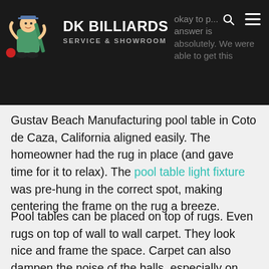DK BILLIARDS SERVICE & SHOWROOM
Gustav Beach Manufacturing pool table in Coto de Caza, California aligned easily. The homeowner had the rug in place (and gave time for it to relax). The pool table light fixture was pre-hung in the correct spot, making centering the frame on the rug a breeze.
Pool tables can be placed on top of rugs. Even rugs on top of wall to wall carpet. They look nice and frame the space. Carpet can also dampen the noise of the balls, especially on hardwood or with a